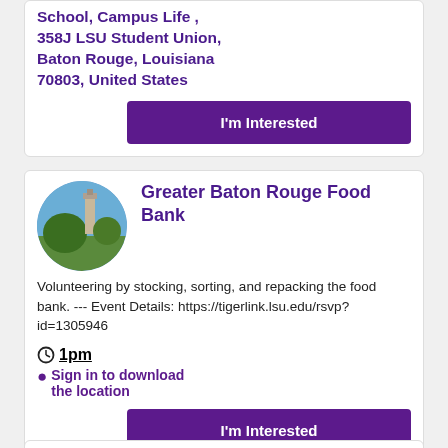School, Campus Life , 358J LSU Student Union, Baton Rouge, Louisiana 70803, United States
I'm Interested
[Figure (photo): Circular photo of LSU campus with tower and trees]
Greater Baton Rouge Food Bank
Volunteering by stocking, sorting, and repacking the food bank. --- Event Details: https://tigerlink.lsu.edu/rsvp?id=1305946
1pm
Sign in to download the location
I'm Interested